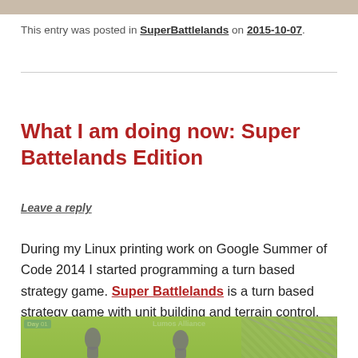[Figure (photo): Top decorative banner strip in tan/beige color]
This entry was posted in SuperBattlelands on 2015-10-07.
What I am doing now: Super Battelands Edition
Leave a reply
During my Linux printing work on Google Summer of Code 2014 I started programming a turn based strategy game. Super Battlelands is a turn based strategy game with unit building and terrain control.
[Figure (screenshot): Screenshot of Super Battlelands game showing Day 01, Lumos Alliance text, game map with unit silhouettes and terrain]